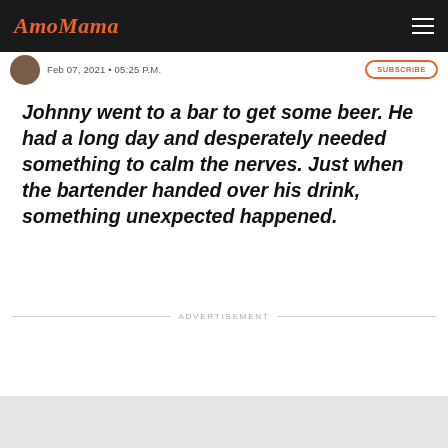AmoMama
Feb 07, 2021 • 05:25 P.M.
Johnny went to a bar to get some beer. He had a long day and desperately needed something to calm the nerves. Just when the bartender handed over his drink, something unexpected happened.
ADVERTISEMENT